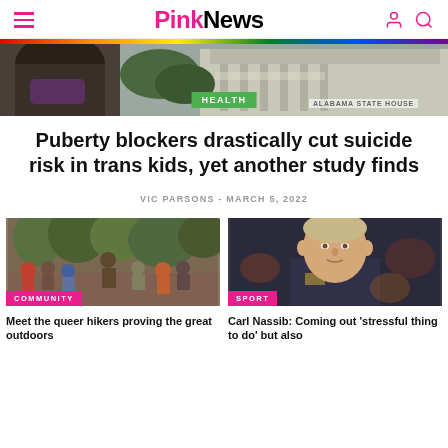PinkNews
[Figure (photo): Hero image showing a person with a face mask near Alabama State House, with a HEALTH category tag overlay]
Puberty blockers drastically cut suicide risk in trans kids, yet another study finds
VIC PARSONS - MARCH 5, 2022
[Figure (photo): Group of people outdoors in a wooded area, with a COMMUNITY category tag]
Meet the queer hikers proving the great outdoors
[Figure (photo): Portrait of Carl Nassib, NFL player, with a SPORT category tag]
Carl Nassib: Coming out 'stressful thing to do' but also